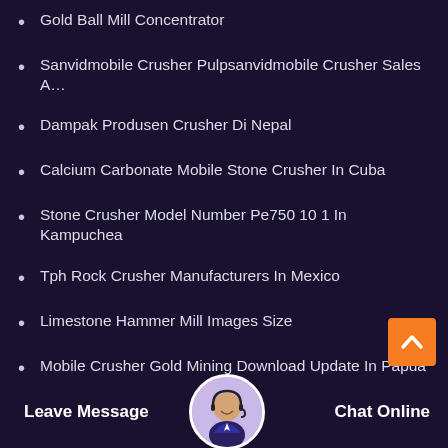Gold Ball Mill Concentrator
Sanvidmobile Crusher Pulpsanvidmobile Crusher Sales A…
Dampak Produsen Crusher Di Nepal
Calcium Carbonate Mobile Stone Crusher In Cuba
Stone Crusher Model Number Pe750 10 1 In Kampuchea
Tph Rock Crusher Manufacturers In Mexico
Limestone Hammer Mill Images Size
Mobile Crusher Gold Mining Download Update In Papua N…
300 Tph Crushers Rate Not Working On Tv In Vanuatu
Kannanthanam Crusher Pathanamthitta
Granite Rock Crusher Ca… Ton Converter Unit
Stone Mini Stone Crusher For Concrete Plant
Leave Message   Chat Online